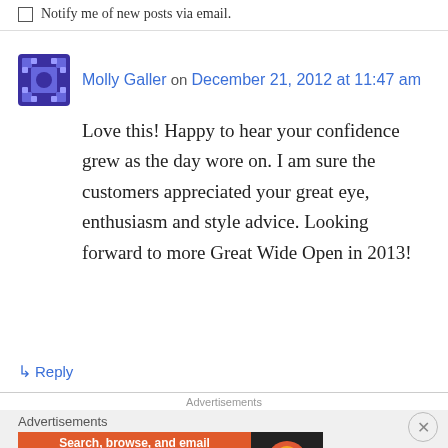Notify me of new posts via email.
Molly Galler on December 21, 2012 at 11:47 am
Love this! Happy to hear your confidence grew as the day wore on. I am sure the customers appreciated your great eye, enthusiasm and style advice. Looking forward to more Great Wide Open in 2013!
↳ Reply
Advertisements
Advertisements
[Figure (screenshot): DuckDuckGo advertisement banner: orange background with text 'Search, browse, and email with more privacy. All in One Free App' and DuckDuckGo duck logo on dark background]